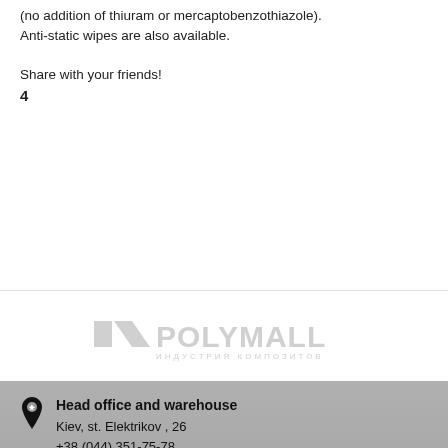(no addition of thiuram or mercaptobenzothiazole). Anti-static wipes are also available.
Share with your friends!
4
[Figure (logo): POLYMALL logo with Cyrillic text ИНДУСТРИЯ КОМПОЗИТОВ]
Head office and warehouse
Kiev, st. Elektrikov , 26
+38 (044) 351-75-78
+38 (050) 577-88-55
Kharkiv office and warehouse
Kharkiv, entrance Vaschenkovsky, 4
+38 (057) 341- 66- 50